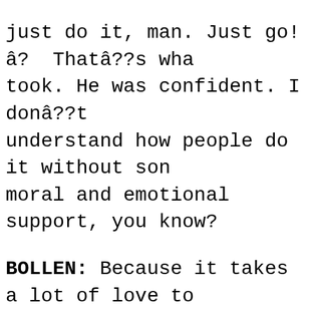just do it, man. Just go!â? Thatâ??s wha took. He was confident. I donâ??t understand how people do it without son moral and emotional support, you know?
BOLLEN: Because it takes a lot of love to someone not to do the safest thing possib which is to get a college degree and then figure it out from there. It takes real trus and belief in someone to say â??Okay, jus drop out and follow the dream.â?
CRAWFORD: Yeah, then I kept getting great feedback and finally landed a peripheral role on this supernatural thri called The Covenant back in â??06.